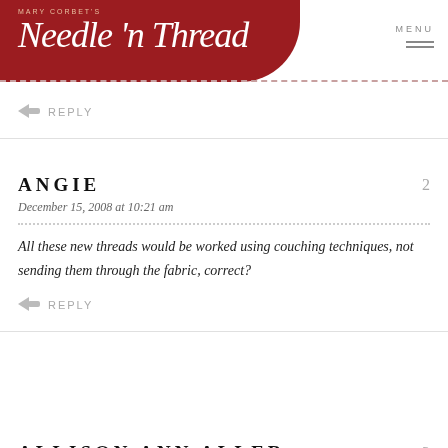Mary Corbet's Needle 'n Thread
REPLY
ANGIE
December 15, 2008 at 10:21 am
All these new threads would be worked using couching techniques, not sending them through the fabric, correct?
REPLY
ALLISON ANN ALLER
December 15, 2008 at 10:42 am